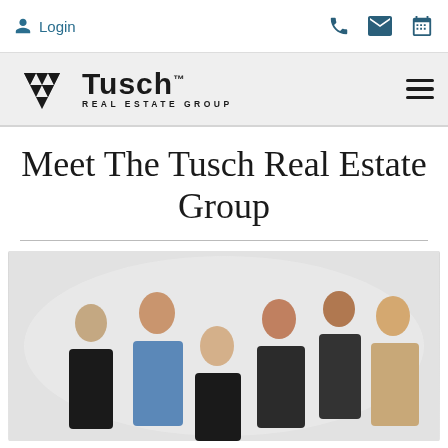Login
[Figure (logo): Tusch Real Estate Group logo with diamond/cross geometric mark]
Meet The Tusch Real Estate Group
[Figure (photo): Group photo of six real estate agents posing against a light grey background. One man in blue blazer, one woman in black, one blonde woman in black, one man in dark suit, one woman in dark turtleneck, one woman in tan and white outfit.]